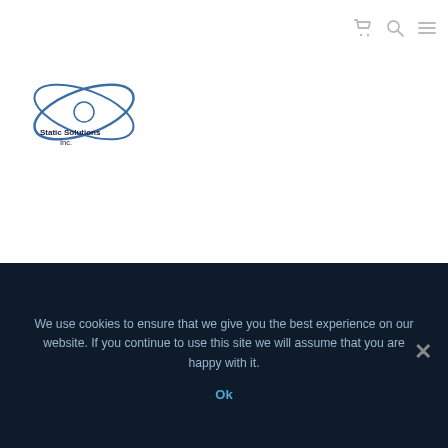[Figure (logo): Static Solutions Inc. company logo with blue elliptical orbital rings and company name text]
intended to drain the static charge of a user that is built up during normal activity. They offer instant static dissipation for rapid protection. It will outlast and outperform competition. Job functions that require worker mobility should use heel grounders. Failure to wear a heel grounder or ESD shoe risks potential damage to the equipment that the user operates and the component parts
We use cookies to ensure that we give you the best experience on our website. If you continue to use this site we will assume that you are happy with it.
Ok